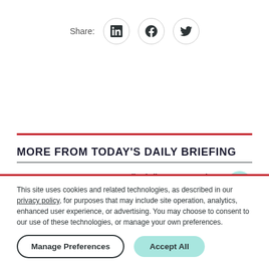[Figure (other): Share row with LinkedIn, Facebook, and Twitter icons in circular borders]
MORE FROM TODAY'S DAILY BRIEFING
01 Former Aetna medical director says he never reviewed patient records
This site uses cookies and related technologies, as described in our privacy policy, for purposes that may include site operation, analytics, enhanced user experience, or advertising. You may choose to consent to our use of these technologies, or manage your own preferences.
Manage Preferences | Accept All